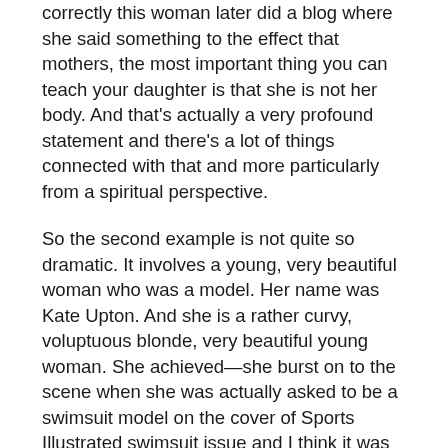correctly this woman later did a blog where she said something to the effect that mothers, the most important thing you can teach your daughter is that she is not her body. And that's actually a very profound statement and there's a lot of things connected with that and more particularly from a spiritual perspective.
So the second example is not quite so dramatic. It involves a young, very beautiful woman who was a model. Her name was Kate Upton. And she is a rather curvy, voluptuous blonde, very beautiful young woman. She achieved—she burst on to the scene when she was actually asked to be a swimsuit model on the cover of Sports Illustrated swimsuit issue and I think it was 2012. And just prior to that she had been interviewed. And she made reference to the fact of how since she was a small girl she had prayed every night for this body. (laughs) She prayed to have these beautiful breasts and curvy hips and the slender waist. She desired very intently and so it's understandable that somebody that spends that much time meditating, contemplating and praying about it, you're going to feel very attached to the idea and then she's feeling that this is me and you've attained some level of happiness and perfection being recognized for